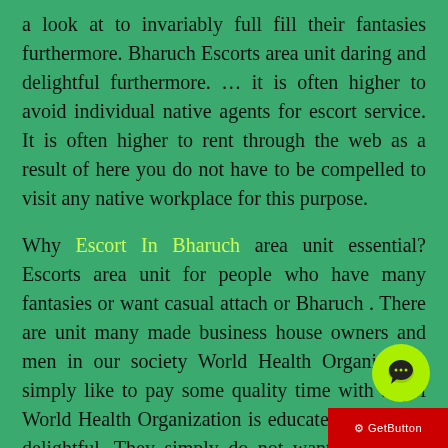a look at to invariably full fill their fantasies furthermore. Bharuch Escorts area unit daring and delightful furthermore. ... it is often higher to avoid individual native agents for escort service. It is often higher to rent through the web as a result of here you do not have to be compelled to visit any native workplace for this purpose.
Why Escort In Bharuch area unit essential? Escorts area unit for people who have many fantasies or want casual attach or Bharuch . There are unit many made business house owners and men in our society World Health Organization simply like to pay some quality time with a girl World Health Organization is educated, bold, and delightful. They simply do not want a physical relationship however over that like mental peace, her corrupting angle, romance, naughty speak, and sensual body massage furthermore. It'll build your heart and causes you to feel awful.